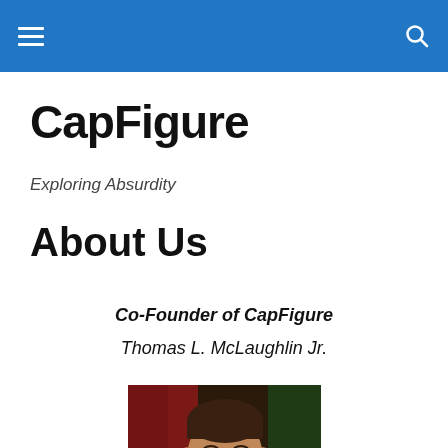CapFigure navigation header
CapFigure
Exploring Absurdity
About Us
Co-Founder of CapFigure
Thomas L. McLaughlin Jr.
[Figure (photo): Portrait photo of Thomas L. McLaughlin Jr., a young man in a dark suit and tie, with a red curtain background]